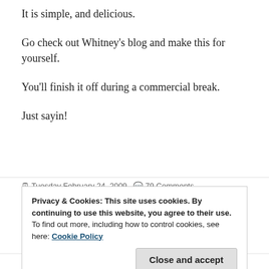It is simple, and delicious.
Go check out Whitney's blog and make this for yourself.
You'll finish it off during a commercial break.
Just sayin!
Tuesday February 24, 2009  79 Comments
Privacy & Cookies: This site uses cookies. By continuing to use this website, you agree to their use.
To find out more, including how to control cookies, see here: Cookie Policy
and running, and I was able to go grocery shopping